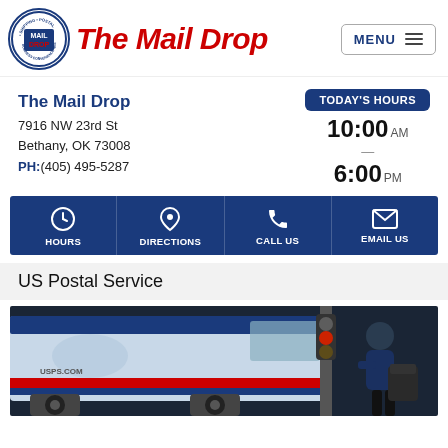[Figure (logo): The Mail Drop circular logo with mail drop text and blue border]
The Mail Drop
The Mail Drop
7916 NW 23rd St
Bethany, OK 73008
PH:(405) 495-5287
TODAY'S HOURS
10:00 AM
—
6:00 PM
HOURS
DIRECTIONS
CALL US
EMAIL US
US Postal Service
[Figure (photo): A USPS postal worker loading or unloading packages from a USPS mail truck]